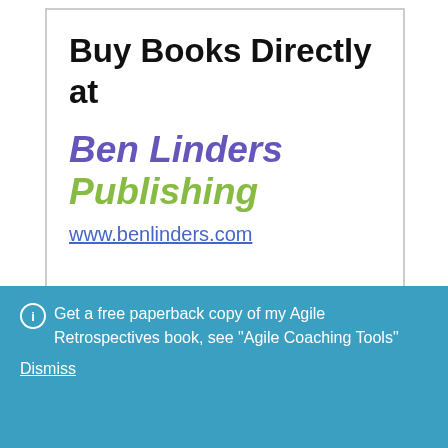[Figure (other): Advertisement box with 'Buy Books Directly at Ben Linders Publishing' and website URL www.benlinders.com]
Featured Agile Coaching Tools
[Figure (illustration): Book cover image for 'Agile Manifest Retrospectives Vragen Kaarten' showing a question mark icon and book cover text]
Agile Manifest Retrospectives Vragen Kaarten
€9.99 (Excl. VAT)
Get a free paperback copy of my Agile Retrospectives book, see "Agile Coaching Tools"
Dismiss